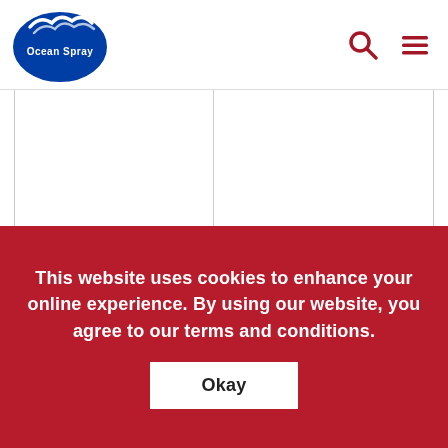Ocean Spray
This website uses cookies to enhance your online experience. By using our website, you agree to our terms and conditions.
Okay